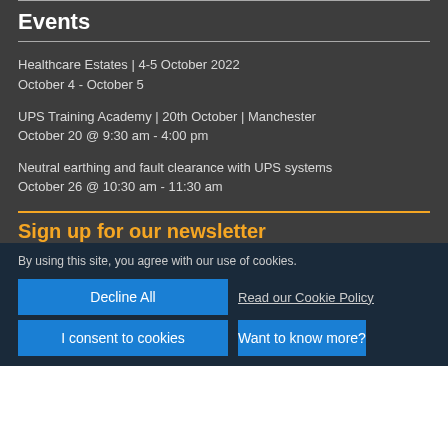Events
Healthcare Estates | 4-5 October 2022
October 4 - October 5
UPS Training Academy | 20th October | Manchester
October 20 @ 9:30 am - 4:00 pm
Neutral earthing and fault clearance with UPS systems
October 26 @ 10:30 am - 11:30 am
Sign up for our newsletter
By using this site, you agree with our use of cookies.
Decline All
Read our Cookie Policy
I consent to cookies
Want to know more?